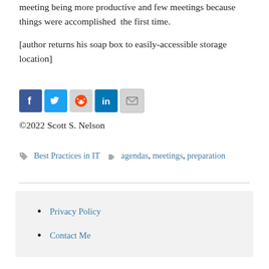meeting being more productive and few meetings because things were accomplished the first time.
[author returns his soap box to easily-accessible storage location]
[Figure (infographic): Social sharing icons: Facebook, Twitter, Reddit, LinkedIn, Email]
©2022 Scott S. Nelson
Best Practices in IT   agendas, meetings, preparation
Privacy Policy
Contact Me